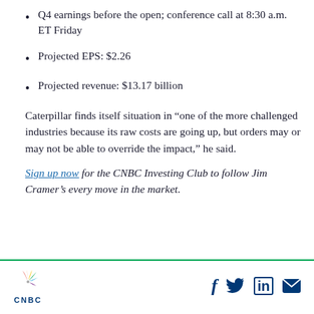Q4 earnings before the open; conference call at 8:30 a.m. ET Friday
Projected EPS: $2.26
Projected revenue: $13.17 billion
Caterpillar finds itself situation in “one of the more challenged industries because its raw costs are going up, but orders may or may not be able to override the impact,” he said.
Sign up now for the CNBC Investing Club to follow Jim Cramer’s every move in the market.
CNBC logo and social media icons